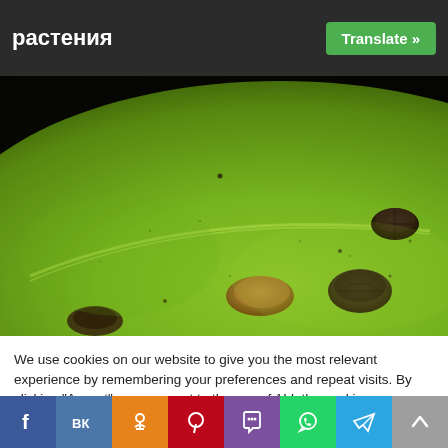растения
[Figure (photo): Close-up macro photograph of scale insects (armored scales) on a green plant surface/leaf. Several small oval-shaped brown and dark insects are visible clinging to the bright green surface against a dark background.]
We use cookies on our website to give you the most relevant experience by remembering your preferences and repeat visits. By clicking "Accept", you consent to the use of ALL the cookies.
Do not sell my personal information.
Cookie Settings | Accept